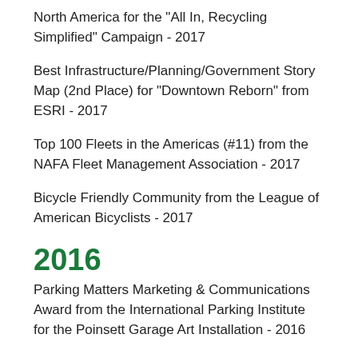North America for the "All In, Recycling Simplified" Campaign - 2017
Best Infrastructure/Planning/Government Story Map (2nd Place) for "Downtown Reborn" from ESRI - 2017
Top 100 Fleets in the Americas (#11) from the NAFA Fleet Management Association - 2017
Bicycle Friendly Community from the League of American Bicyclists - 2017
2016
Parking Matters Marketing & Communications Award from the International Parking Institute for the Poinsett Garage Art Installation - 2016
Elizabeth O'Neill Verner Governor's Award for the Arts from the SC Arts Commission (government category) - 2016